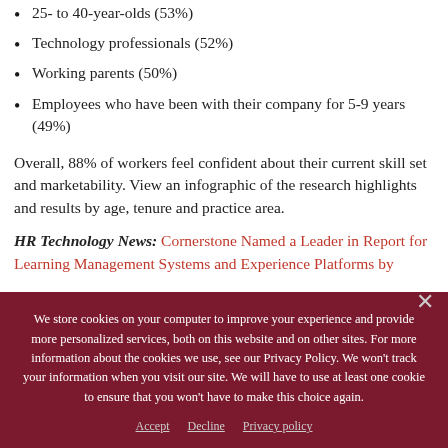25- to 40-year-olds (53%)
Technology professionals (52%)
Working parents (50%)
Employees who have been with their company for 5-9 years (49%)
Overall, 88% of workers feel confident about their current skill set and marketability. View an infographic of the research highlights and results by age, tenure and practice area.
HR Technology News: Cornerstone Named a Leader in Report for Learning Management Systems and Experience Platforms by
We store cookies on your computer to improve your experience and provide more personalized services, both on this website and on other sites. For more information about the cookies we use, see our Privacy Policy. We won't track your information when you visit our site. We will have to use at least one cookie to ensure that you won't have to make this choice again.
Accept | Decline | Privacy policy